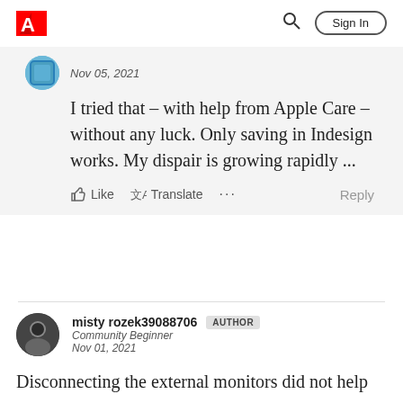Adobe community forum header with logo and Sign In button
Nov 05, 2021
I tried that – with help from Apple Care – without any luck. Only saving in Indesign works. My dispair is growing rapidly ...
Like  Translate  ...  Reply
misty rozek39088706  AUTHOR
Community Beginner
Nov 01, 2021
Disconnecting the external monitors did not help